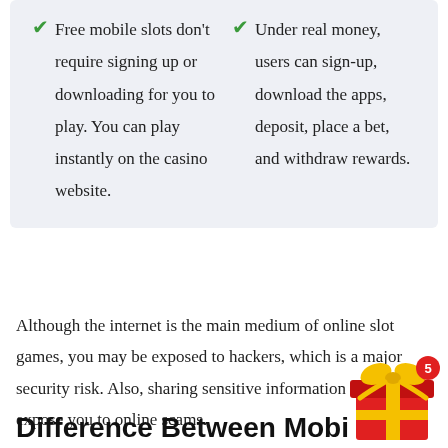Free mobile slots don't require signing up or downloading for you to play. You can play instantly on the casino website.
Under real money, users can sign-up, download the apps, deposit, place a bet, and withdraw rewards.
Although the internet is the main medium of online slot games, you may be exposed to hackers, which is a major security risk. Also, sharing sensitive information online can expose you to online scams.
Difference Between Mobi
[Figure (illustration): Gift box icon with red bow and yellow ribbon, with a red notification badge showing the number 5]